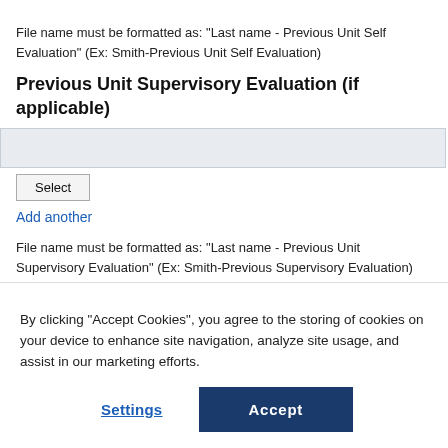File name must be formatted as: "Last name - Previous Unit Self Evaluation" (Ex: Smith-Previous Unit Self Evaluation)
Previous Unit Supervisory Evaluation (if applicable)
Add another
File name must be formatted as: "Last name - Previous Unit Supervisory Evaluation" (Ex: Smith-Previous Supervisory Evaluation)
By clicking “Accept Cookies”, you agree to the storing of cookies on your device to enhance site navigation, analyze site usage, and assist in our marketing efforts.